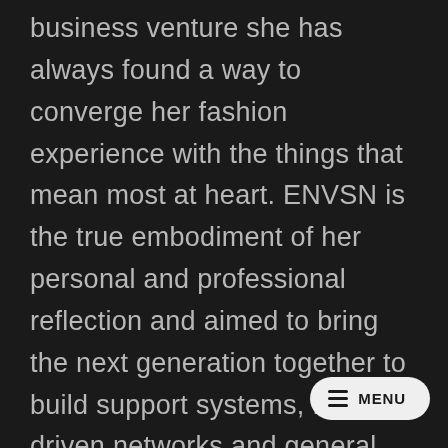business venture she has always found a way to converge her fashion experience with the things that mean most at heart. ENVSN is the true embodiment of her personal and professional reflection and aimed to bring the next generation together to build support systems, female-driven networks and general access to experience that will help shape their futures. Ventures Include: Co-Founder at Liberty Fashion and Lifestyle Fairs; Founder at the Brooklyn Intern, Active Member of 14+ Foundation and Health Now